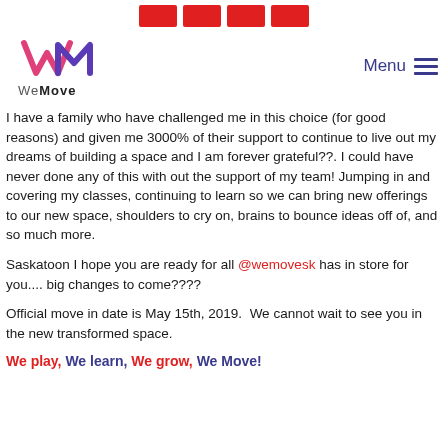[Figure (logo): Four red rectangular blocks in a row at the top of the page]
[Figure (logo): WeMove logo — stylized WM letters in pink/red/purple gradient, with text 'We Move' below]
I have a family who have challenged me in this choice (for good reasons) and given me 3000% of their support to continue to live out my dreams of building a space and I am forever grateful??. I could have never done any of this with out the support of my team! Jumping in and covering my classes, continuing to learn so we can bring new offerings to our new space, shoulders to cry on, brains to bounce ideas off of, and so much more.
Saskatoon I hope you are ready for all @wemovesk has in store for you.... big changes to come????
Official move in date is May 15th, 2019.  We cannot wait to see you in the new transformed space.
We play, We learn, We grow, We Move!